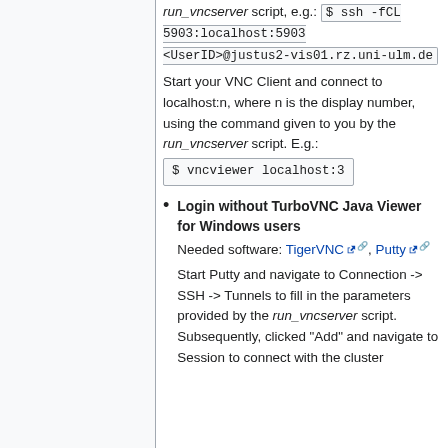run_vncserver script, e.g.: $ ssh -fCL 5903:localhost:5903 <UserID>@justus2-vis01.rz.uni-ulm.de
Start your VNC Client and connect to localhost:n, where n is the display number, using the command given to you by the run_vncserver script. E.g.: $ vncviewer localhost:3
Login without TurboVNC Java Viewer for Windows users Needed software: TigerVNC, Putty Start Putty and navigate to Connection -> SSH -> Tunnels to fill in the parameters provided by the run_vncserver script. Subsequently, clicked "Add" and navigate to Session to connect with the cluster